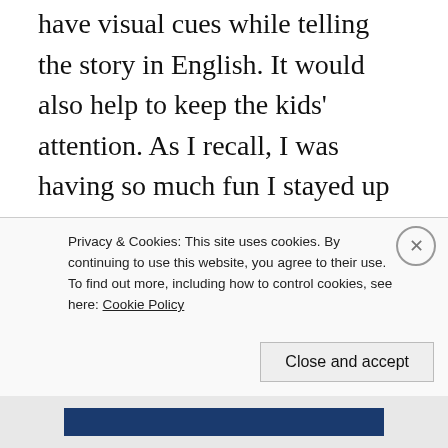have visual cues while telling the story in English. It would also help to keep the kids' attention. As I recall, I was having so much fun I stayed up into the wee hours of the morning colouring these. I laminated them and stuck them on popsicle sticks. When my year at that particular school was up, they asked if they could keep them and I said no. I'd put too much of my creative energy into them and was not willing to give them up...what a
Privacy & Cookies: This site uses cookies. By continuing to use this website, you agree to their use.
To find out more, including how to control cookies, see here: Cookie Policy
Close and accept